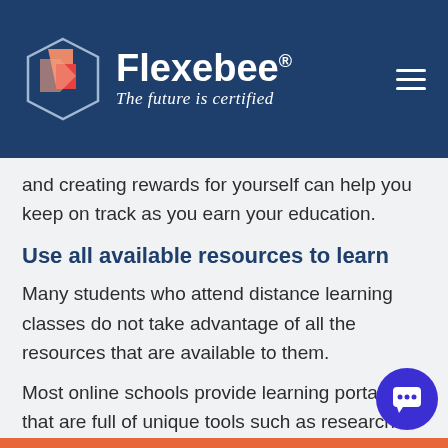[Figure (logo): Flexebee logo with hexagon icon and tagline 'The future is certified' on dark blue header background]
and creating rewards for yourself can help you keep on track as you earn your education.
Use all available resources to learn
Many students who attend distance learning classes do not take advantage of all the resources that are available to them.
Most online schools provide learning portals that are full of unique tools such as research libraries, tutoring chat sessions, or interactive